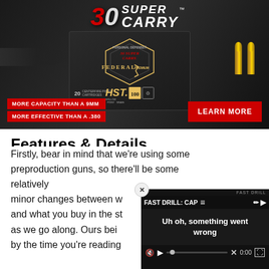[Figure (photo): Federal Premium 30 Super Carry ammunition advertisement showing product box, HST 100 grain cartridges, bullets, and red text banners reading 'MORE CAPACITY THAN A 9MM' and 'MORE EFFECTIVE THAN A .380' with a 'LEARN MORE' button]
Features & Details
Firstly, bear in mind that we're using some preproduction guns, so there'll be some relatively minor changes between w[hat you see here] and what you buy in the st[ore. We'll note those] as we go along. Ours bei[ng preproduction means] by the time you're reading [this review...]
[Figure (screenshot): Video player overlay showing 'FAST DRILL: CAP' title with hamburger menu icon, error message 'Uh oh, something went wrong', muted speaker icon, play button, progress bar with X button, 0:00 timestamp, fullscreen icon, and a close X button in top-left corner]